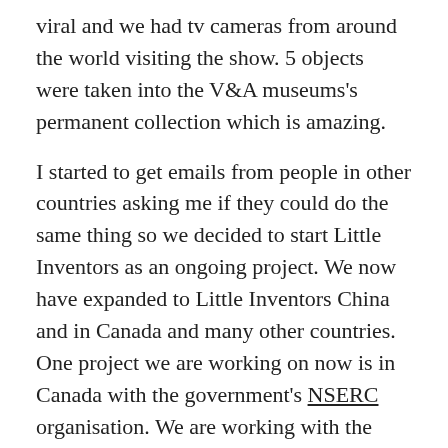viral and we had tv cameras from around the world visiting the show. 5 objects were taken into the V&A museums's permanent collection which is amazing.
I started to get emails from people in other countries asking me if they could do the same thing so we decided to start Little Inventors as an ongoing project. We now have expanded to Little Inventors China and in Canada and many other countries. One project we are working on now is in Canada with the government's NSERC organisation. We are working with the Canadian Space Agency to ask children there to think up ideas for life in space. The best idea may even be shown on the International Space station!
Here is a nice short film about the very first project.